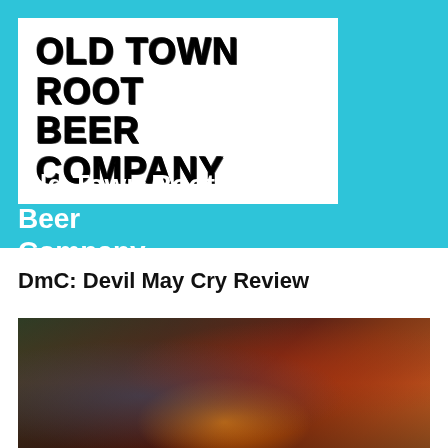[Figure (logo): Old Town Root Beer Company logo — white box with bold black uppercase text in stylized font reading OLD TOWN ROOT BEER COMPANY on a cyan/teal background]
Old Town Root Beer Company
DmC: Devil May Cry Review
[Figure (photo): Game screenshot from DmC: Devil May Cry showing a dark action scene with blue and red tones, glowing fire/energy in the center, ruins and mechanical elements in background]